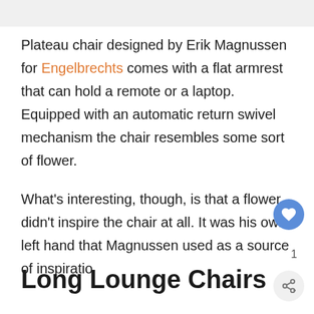[Figure (photo): Gray/light image strip at top of page, partial view of a chair photo]
Plateau chair designed by Erik Magnussen for Engelbrechts comes with a flat armrest that can hold a remote or a laptop. Equipped with an automatic return swivel mechanism the chair resembles some sort of flower.
What's interesting, though, is that a flower didn't inspire the chair at all. It was his own left hand that Magnussen used as a source of inspiratio
Long Lounge Chairs